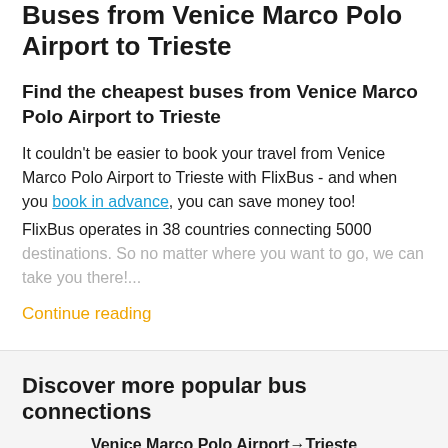Buses from Venice Marco Polo Airport to Trieste
Find the cheapest buses from Venice Marco Polo Airport to Trieste
It couldn't be easier to book your travel from Venice Marco Polo Airport to Trieste with FlixBus - and when you book in advance, you can save money too!
FlixBus operates in 38 countries connecting 5000 destinations. So no matter where you want to go, we can take you there!...
Continue reading
Discover more popular bus connections
Venice Marco Polo AirportTrieste